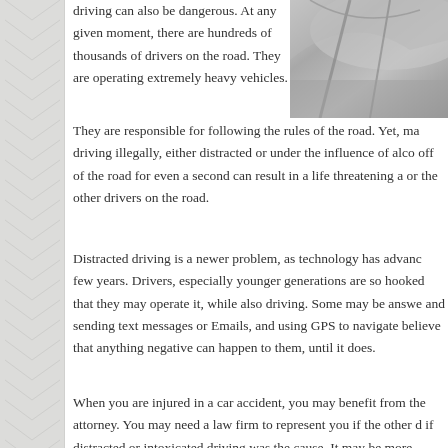[Figure (photo): Close-up photo of what appears to be car or vehicle components, showing metallic/chrome surfaces at an angle, partially visible at top right of page.]
driving can also be dangerous. At any given moment, there are hundreds of thousands of drivers on the road. They are operating extremely heavy vehicles. They are responsible for following the rules of the road. Yet, many are driving illegally, either distracted or under the influence of alcohol. Taking eyes off of the road for even a second can result in a life threatening accident for themselves or the other drivers on the road.
Distracted driving is a newer problem, as technology has advanced over the past few years. Drivers, especially younger generations are so hooked on their devices that they may operate it, while also driving. Some may be answering phone calls and sending text messages or Emails, and using GPS to navigate. Many drivers believe that anything negative can happen to them, until it does.
When you are injured in a car accident, you may benefit from the help of an attorney. You may need a law firm to represent you if the other driver is at fault or if distracted or intoxicated driving was the cause. It may be more difficult than drunk driving, but some lawyersandsettlements.com/articles/wrongful-